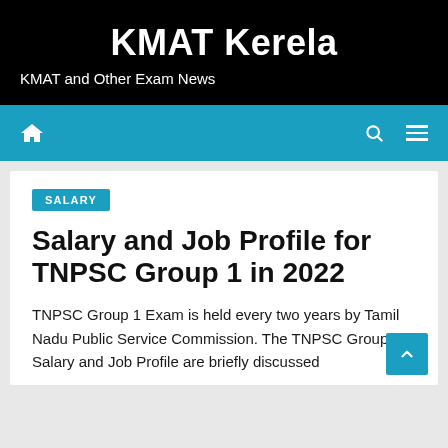KMAT Kerela
KMAT and Other Exam News
SALARY
Salary and Job Profile for TNPSC Group 1 in 2022
TNPSC Group 1 Exam is held every two years by Tamil Nadu Public Service Commission. The TNPSC Group 1 Salary and Job Profile are briefly discussed